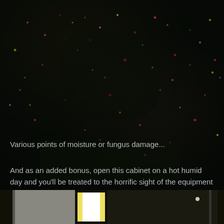[Figure (photo): Dark background image showing a ceiling or surface with various points of colored light or spots suggesting moisture or fungus damage — dark olive/black tones with scattered red, pink, yellow, and green speckles throughout.]
Various points of moisture or fungus damage...
And as an added bonus, open this cabinet on a hot humid day and you'll be treated to the horrific sight of the equipment becoming soaking wet while still actively running...
[Figure (photo): Bottom strip of a photo showing equipment inside a cabinet — partially visible equipment with bright light and dark surroundings.]